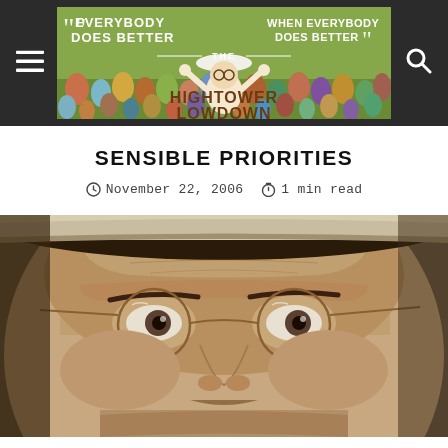The Hightower Lowdown — Everybody Does Better When Everybody Does Better
SENSIBLE PRIORITIES
November 22, 2006  1 min read
[Figure (photo): Close-up photograph of a man wearing round wire-rimmed glasses and a light-colored hat, photographed from below with a grey/brown background.]